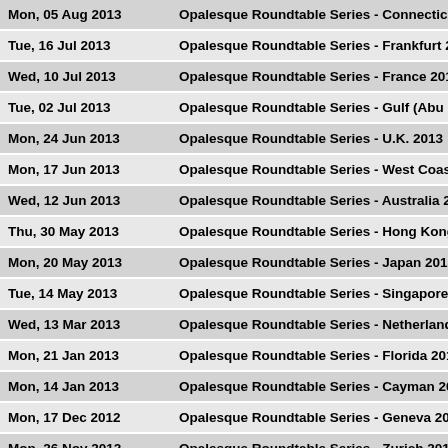| Date | Event |
| --- | --- |
| Mon, 05 Aug 2013 | Opalesque Roundtable Series - Connecticut 2013 |
| Tue, 16 Jul 2013 | Opalesque Roundtable Series - Frankfurt 2013 |
| Wed, 10 Jul 2013 | Opalesque Roundtable Series - France 2013 |
| Tue, 02 Jul 2013 | Opalesque Roundtable Series - Gulf (Abu Dhabi) |
| Mon, 24 Jun 2013 | Opalesque Roundtable Series - U.K. 2013 |
| Mon, 17 Jun 2013 | Opalesque Roundtable Series - West Coast 2013 |
| Wed, 12 Jun 2013 | Opalesque Roundtable Series - Australia 2013 |
| Thu, 30 May 2013 | Opalesque Roundtable Series - Hong Kong 2013 |
| Mon, 20 May 2013 | Opalesque Roundtable Series - Japan 2013 |
| Tue, 14 May 2013 | Opalesque Roundtable Series - Singapore 2013 |
| Wed, 13 Mar 2013 | Opalesque Roundtable Series - Netherlands 2013 |
| Mon, 21 Jan 2013 | Opalesque Roundtable Series - Florida 2013 |
| Mon, 14 Jan 2013 | Opalesque Roundtable Series - Cayman 2013 |
| Mon, 17 Dec 2012 | Opalesque Roundtable Series - Geneva 2013 |
| Mon, 26 Nov 2012 | Opalesque Roundtable Series - Zurich 2012 |
| Thu, 01 Nov 2012 | Opalesque Roundtable Series - Managed Futures |
| Tue, 23 Oct 2012 | Opalesque Roundtable Series - New York 2012 |
| Tue, 16 Oct 2012 | Opalesque Roundtable Series - Connecticut 2012 |